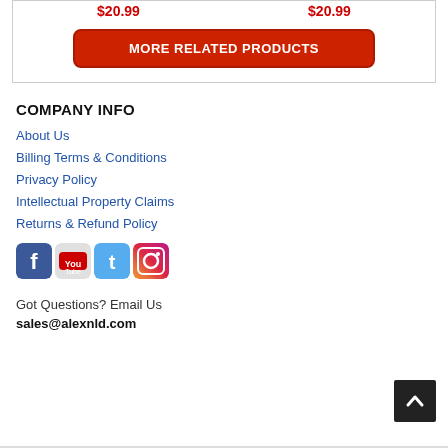$20.99   $20.99
MORE RELATED PRODUCTS
COMPANY INFO
About Us
Billing Terms & Conditions
Privacy Policy
Intellectual Property Claims
Returns & Refund Policy
[Figure (logo): Social media icons: Facebook, YouTube, Twitter, Instagram]
Got Questions? Email Us
sales@alexnld.com